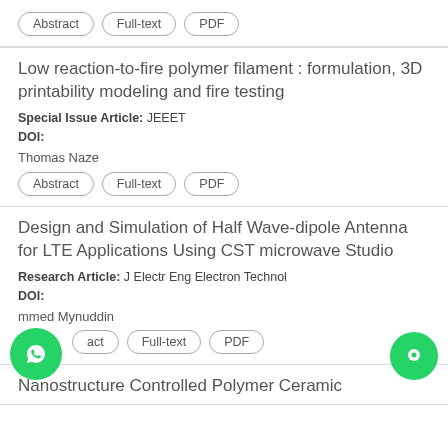Abstract | Full-text | PDF (top buttons)
Low reaction-to-fire polymer filament : formulation, 3D printability modeling and fire testing
Special Issue Article: JEEET
DOI:
Thomas Naze
Abstract | Full-text | PDF
Design and Simulation of Half Wave-dipole Antenna for LTE Applications Using CST microwave Studio
Research Article: J Electr Eng Electron Technol
DOI:
mmed Mynuddin
act | Full-text | PDF
Nanostructure Controlled Polymer Ceramic